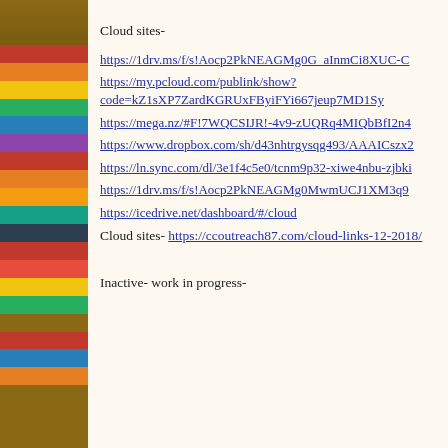Cloud sites-
https://1drv.ms/f/s!Aocp2PkNEAGMg0G_aInmCi8XUC-C
https://my.pcloud.com/publink/show?code=kZ1sXP7ZardKGRUxFByiFYi667jeup7MD1Sy
https://mega.nz/#F!7WQCSIJR!-4v9-zUQRq4MIQbBfI2n4
https://www.dropbox.com/sh/d43nhtrgysqg493/AAAICszx2
https://ln.sync.com/dl/3e1f4c5e0/tcnm9p32-xiwe4nbu-zjbki
https://1drv.ms/f/s!Aocp2PkNEAGMg0MwmUCJ1XM3q9
https://icedrive.net/dashboard/#/cloud
Cloud sites- https://ccoutreach87.com/cloud-links-12-2018/
Inactive- work in progress-